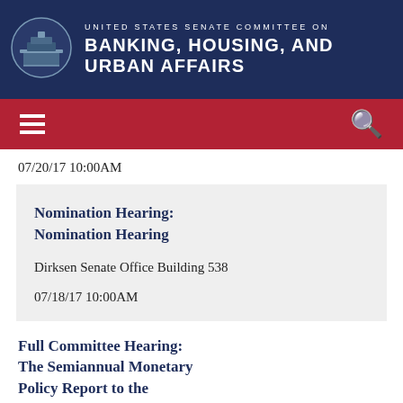UNITED STATES SENATE COMMITTEE ON BANKING, HOUSING, AND URBAN AFFAIRS
07/20/17 10:00AM
Nomination Hearing: Nomination Hearing
Dirksen Senate Office Building 538
07/18/17 10:00AM
Full Committee Hearing: The Semiannual Monetary Policy Report to the Congress